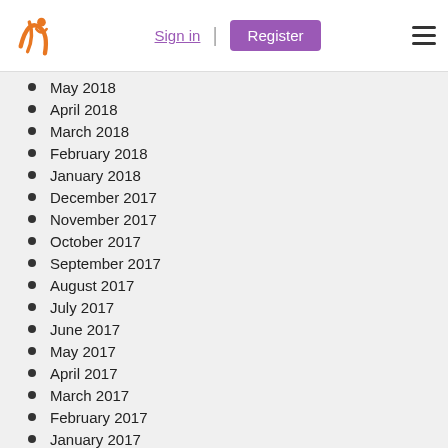Sign in | Register
May 2018
April 2018
March 2018
February 2018
January 2018
December 2017
November 2017
October 2017
September 2017
August 2017
July 2017
June 2017
May 2017
April 2017
March 2017
February 2017
January 2017
December 2016
November 2016
October 2016